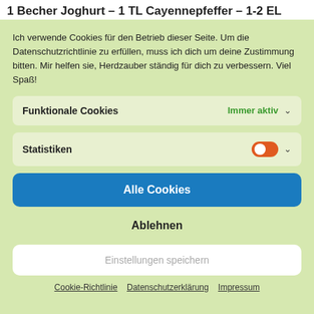1 Becher Joghurt – 1 TL Cayennepfeffer – 1-2 EL
Ich verwende Cookies für den Betrieb dieser Seite. Um die Datenschutzrichtlinie zu erfüllen, muss ich dich um deine Zustimmung bitten. Mir helfen sie, Herdzauber ständig für dich zu verbessern. Viel Spaß!
Funktionale Cookies — Immer aktiv
Statistiken — toggle on
Alle Cookies
Ablehnen
Einstellungen speichern
Cookie-Richtlinie   Datenschutzerklärung   Impressum